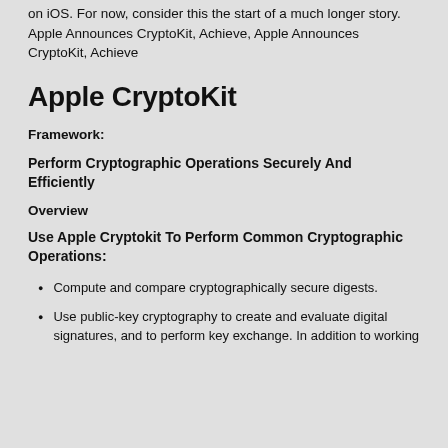on iOS. For now, consider this the start of a much longer story. Apple Announces CryptoKit, Achieve, Apple Announces CryptoKit, Achieve
Apple CryptoKit
Framework:
Perform Cryptographic Operations Securely And Efficiently
Overview
Use Apple Cryptokit To Perform Common Cryptographic Operations:
Compute and compare cryptographically secure digests.
Use public-key cryptography to create and evaluate digital signatures, and to perform key exchange. In addition to working